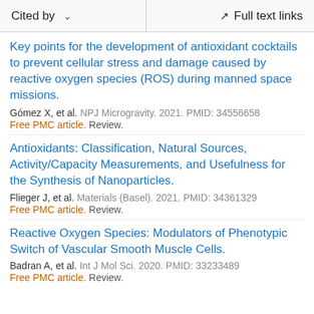Cited by    Full text links
Key points for the development of antioxidant cocktails to prevent cellular stress and damage caused by reactive oxygen species (ROS) during manned space missions.
Gómez X, et al. NPJ Microgravity. 2021. PMID: 34556658
Free PMC article. Review.
Antioxidants: Classification, Natural Sources, Activity/Capacity Measurements, and Usefulness for the Synthesis of Nanoparticles.
Flieger J, et al. Materials (Basel). 2021. PMID: 34361329
Free PMC article. Review.
Reactive Oxygen Species: Modulators of Phenotypic Switch of Vascular Smooth Muscle Cells.
Badran A, et al. Int J Mol Sci. 2020. PMID: 33233489
Free PMC article. Review.